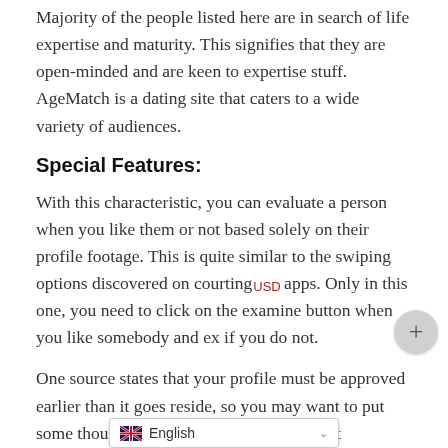Majority of the people listed here are in search of life expertise and maturity. This signifies that they are open-minded and are keen to expertise stuff. AgeMatch is a dating site that caters to a wide variety of audiences.
Special Features:
With this characteristic, you can evaluate a person when you like them or not based solely on their profile footage. This is quite similar to the swiping options discovered on courting apps. Only in this one, you need to click on the examine button when you like somebody and ex if you do not.
One source states that your profile must be approved earlier than it goes reside, so you may want to put some thought into making your profile. But regardless, now you can start browse the listings and utilizing the website. To create a profile on AgeMatch.com you might be about to spend a few minutes. You ought to provide som ur